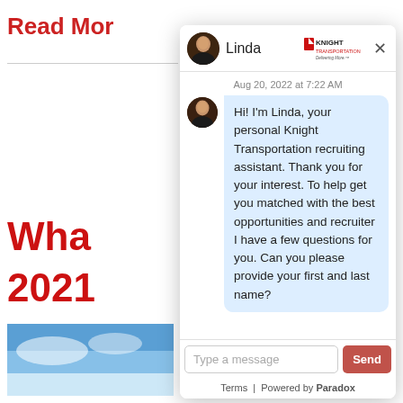[Figure (screenshot): Screenshot of a webpage showing a chat widget overlay from Knight Transportation. The background page has 'Read Mor' text in red, 'Wha' and '2021' in large bold red text, a sky photo, and a dark red footer. The chat widget shows 'Linda' as the agent name with Knight Transportation logo, a message dated Aug 20, 2022 at 7:22 AM, a chat bubble saying 'Hi! I'm Linda, your personal Knight Transportation recruiting assistant. Thank you for your interest. To help get you matched with the best opportunities and recruiter I have a few questions for you. Can you please provide your first and last name?', a message input box with 'Type a message' placeholder, a red 'Send' button, and footer links 'Terms | Powered by Paradox'.]